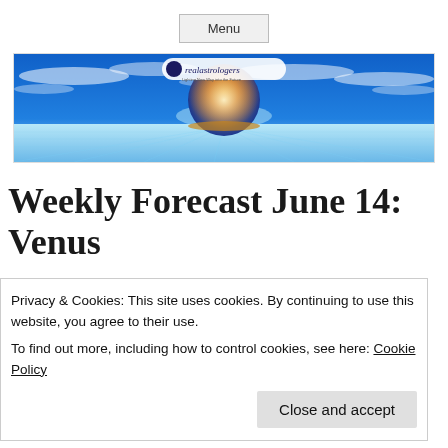Menu
[Figure (illustration): realastrologers website banner with a glowing celestial globe over a blue horizon with clouds and the realastrologers logo]
Weekly Forecast June 14: Venus
Privacy & Cookies: This site uses cookies. By continuing to use this website, you agree to their use.
To find out more, including how to control cookies, see here: Cookie Policy
Close and accept